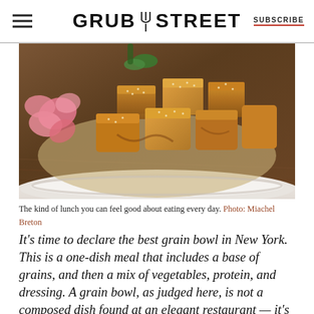GRUB STREET | SUBSCRIBE
[Figure (photo): Close-up photo of a grain bowl in a white bowl, showing braised tofu cubes topped with sesame seeds, pickled ginger, and vegetables on a wooden surface.]
The kind of lunch you can feel good about eating every day. Photo: Miachel Breton
It’s time to declare the best grain bowl in New York. This is a one-dish meal that includes a base of grains, and then a mix of vegetables, protein, and dressing. A grain bowl, as judged here, is not a composed dish found at an elegant restaurant — it’s